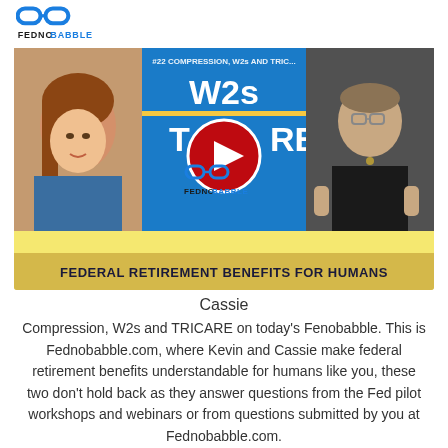FEDNOBABBLE
[Figure (screenshot): YouTube video thumbnail for Fednobabble showing two hosts (woman on left, man on right) with W2s and TRICARE topic text on blue banner, play button overlay, Fednobabble logo, and title 'FEDERAL RETIREMENT BENEFITS FOR HUMANS']
Cassie
Compression, W2s and TRICARE on today's Fenobabble. This is Fednobabble.com, where Kevin and Cassie make federal retirement benefits understandable for humans like you, these two don't hold back as they answer questions from the Fed pilot workshops and webinars or from questions submitted by you at Fednobabble.com.